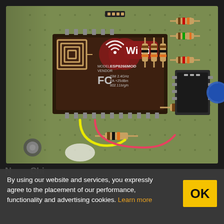[Figure (photo): Close-up photograph of a perfboard/perf PCB inside a black plastic enclosure. Features a Wi-Fi module (ESP8266MOD) with label showing 'Wi Fi', 'MODEL VENDOR ESP8266MOD', 'FC', 'ISM 2.4GHz', 'PA +25dBm', '802.11b/g/n'. Board has multiple resistors (brown-black-orange), a DIP IC chip, wiring with yellow and pink/red wires, and an antenna pattern. The board is mounted in a dark plastic case.]
By using our website and services, you expressly agree to the placement of our performance, functionality and advertising cookies. Learn more